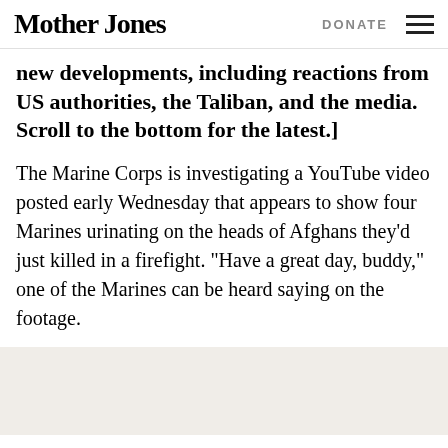Mother Jones | DONATE
new developments, including reactions from US authorities, the Taliban, and the media. Scroll to the bottom for the latest.]
The Marine Corps is investigating a YouTube video posted early Wednesday that appears to show four Marines urinating on the heads of Afghans they'd just killed in a firefight. “Have a great day, buddy,” one of the Marines can be heard saying on the footage.
[Figure (other): Advertisement or blank content block with beige/off-white background]
The video was posted to YouTube by a user calling